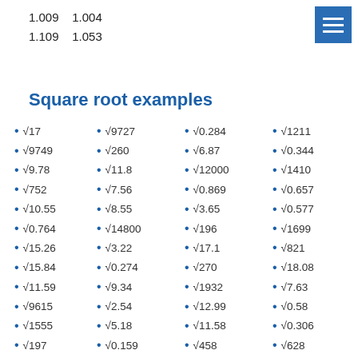1.009    1.004
1.109    1.053
Square root examples
√17
√9727
√0.284
√1211
√9749
√260
√6.87
√0.344
√9.78
√11.8
√12000
√1410
√752
√7.56
√0.869
√0.657
√10.55
√8.55
√3.65
√0.577
√0.764
√14800
√196
√1699
√15.26
√3.22
√17.1
√821
√15.84
√0.274
√270
√18.08
√11.59
√9.34
√1932
√7.63
√9615
√2.54
√12.99
√0.58
√1555
√5.18
√11.58
√0.306
√197
√0.159
√458
√628